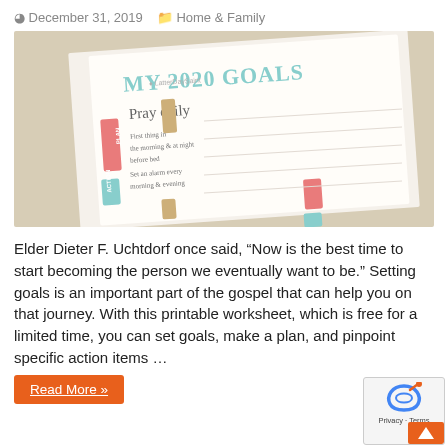December 31, 2019   Home & Family
[Figure (photo): A photo of a printed 'My 2020 Goals' worksheet showing handwritten goals including 'Pray daily' with plan/action sections in teal and coral colors, placed on a light background.]
Elder Dieter F. Uchtdorf once said, “Now is the best time to start becoming the person we eventually want to be.” Setting goals is an important part of the gospel that can help you on that journey. With this printable worksheet, which is free for a limited time, you can set goals, make a plan, and pinpoint specific action items …
Read More »